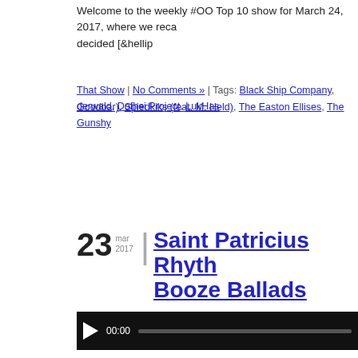Welcome to the weekly #OO Top 10 show for March 24, 2017, where we reca decided [&hellip
That Show | No Comments » | Tags: Black Ship Company, derwald, Dofhei Project, LukHas Goodbar), Spiedkiks (feat. M. Held), The Easton Ellises, The Gunshy
23 mar 2017 | Saint Patricius Rhythm Booze Ballads
[Figure (other): Audio player bar with play button, 00:00 timestamp, and progress bar]
Podcast: Play in new window | Download (Duration: 2:20:39 — 322.3MB)
Subscribe: Apple Podcasts | Android | RSS
#OO for 3/17/2017 AKA #TGTIF Sorry for the delay. Thanks to our producer V $33.33 donation. Big thanks [&hellip
#OO show | No Comments » | Tags: Chalk Dinosaur, Cletus Got Shot, Contratempo, Daddy